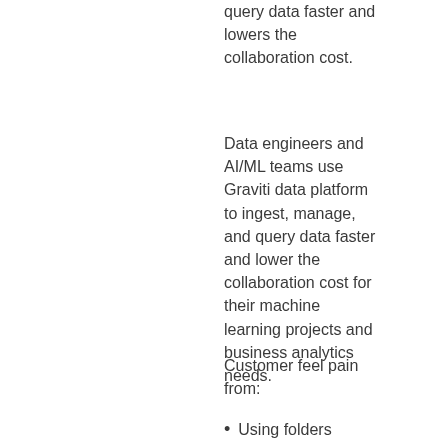query data faster and lowers the collaboration cost.
Data engineers and AI/ML teams use Graviti data platform to ingest, manage, and query data faster and lower the collaboration cost for their machine learning projects and business analytics needs.
Customer feel pain from:
Using folders